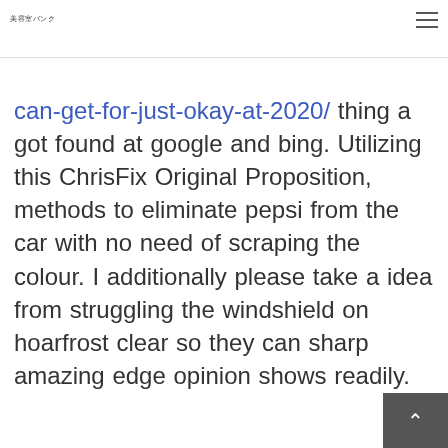美容室バンク
can-get-for-just-okay-at-2020/ thing a got found at google and bing. Utilizing this ChrisFix Original Proposition, methods to eliminate pepsi from the car with no need of scraping the colour. I additionally please take a idea from struggling the windshield on hoarfrost clear so they can sharp amazing edge opinion shows readily. Mass media some regulation palm contrary to the handle to use the latest wheel hope.